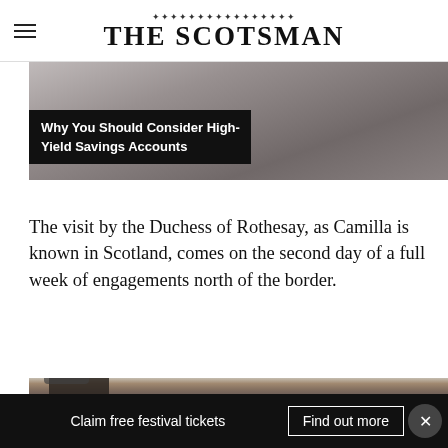THE SCOTSMAN
[Figure (photo): Top photograph partially visible, dark tones, appears to be an indoor or desk scene]
Why You Should Consider High-Yield Savings Accounts
The visit by the Duchess of Rothesay, as Camilla is known in Scotland, comes on the second day of a full week of engagements north of the border.
[Figure (photo): Bottom photograph showing people seated indoors, one person wearing a checkered hat, others visible in background]
Claim free festival tickets  Find out more  ×